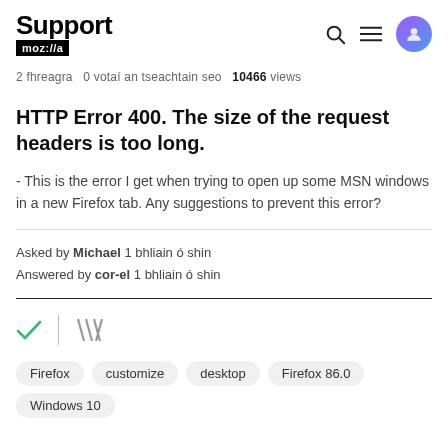Support mozilla//a
2 fhreagra  0 votaí an tseachtain seo  10466 views
HTTP Error 400. The size of the request headers is too long.
- This is the error I get when trying to open up some MSN windows in a new Firefox tab. Any suggestions to prevent this error?
Asked by Michael 1 bhliain ó shin
Answered by cor-el 1 bhliain ó shin
Firefox  customize  desktop  Firefox 86.0  Windows 10